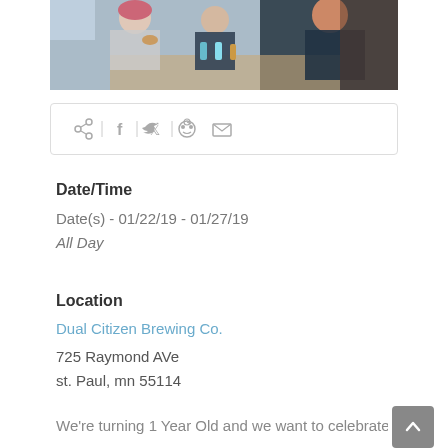[Figure (photo): Group of people gathered around a table at a brewery, looking at drinks. One person wearing a pink beanie is sipping from a glass.]
[Figure (infographic): Social share bar with icons for share, Facebook, Twitter, Reddit, and email, separated by vertical dividers, inside a rounded rectangle border.]
Date/Time
Date(s) - 01/22/19 - 01/27/19
All Day
Location
Dual Citizen Brewing Co.
725 Raymond AVe
st. Paul, mn 55114
We're turning 1 Year Old and we want to celebrate